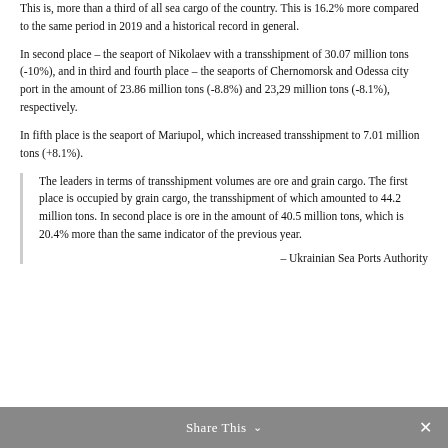This is, more than a third of all sea cargo of the country. This is 16.2% more compared to the same period in 2019 and a historical record in general.
In second place – the seaport of Nikolaev with a transshipment of 30.07 million tons (-10%), and in third and fourth place – the seaports of Chernomorsk and Odessa city port in the amount of 23.86 million tons (-8.8%) and 23,29 million tons (-8.1%), respectively.
In fifth place is the seaport of Mariupol, which increased transshipment to 7.01 million tons (+8.1%).
The leaders in terms of transshipment volumes are ore and grain cargo. The first place is occupied by grain cargo, the transshipment of which amounted to 44.2 million tons. In second place is ore in the amount of 40.5 million tons, which is 20.4% more than the same indicator of the previous year.
– Ukrainian Sea Ports Authority
Share This ∨ ✕